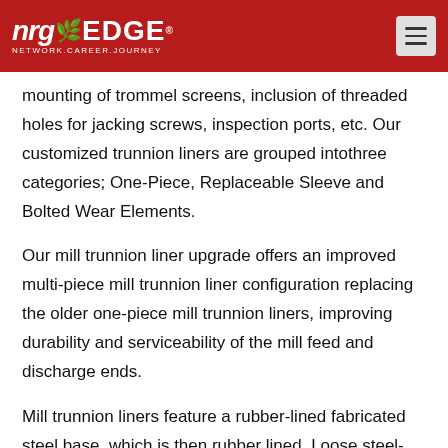nrgEDGE – NETWORK.CAREER.JOURNEY
mounting of trommel screens, inclusion of threaded holes for jacking screws, inspection ports, etc. Our customized trunnion liners are grouped into three categories; One-Piece, Replaceable Sleeve and Bolted Wear Elements.
Our mill trunnion liner upgrade offers an improved multi-piece mill trunnion liner configuration replacing the older one-piece mill trunnion liners, improving durability and serviceability of the mill feed and discharge ends.
Mill trunnion liners feature a rubber-lined fabricated steel base, which is then rubber lined. Loose steel-